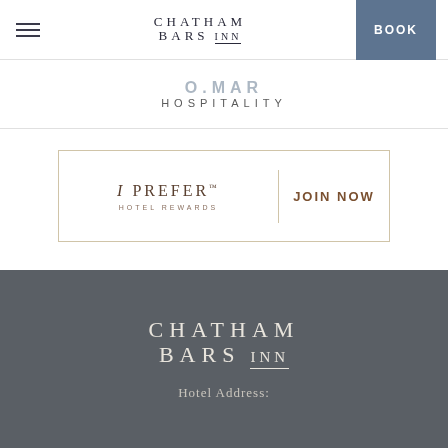[Figure (logo): Chatham Bars Inn navigation logo with hamburger menu and BOOK button]
[Figure (logo): O.MAR Hospitality logo]
[Figure (logo): I Prefer Hotel Rewards JOIN NOW banner]
[Figure (logo): Chatham Bars Inn footer logo]
Hotel Address: